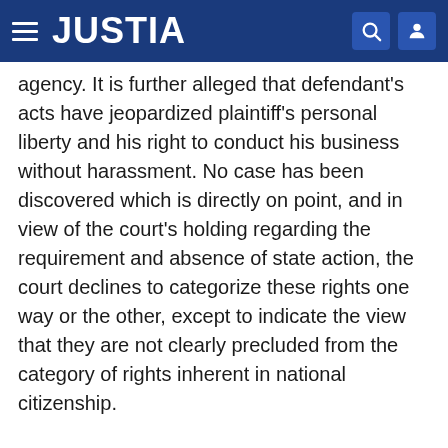JUSTIA
agency. It is further alleged that defendant's acts have jeopardized plaintiff's personal liberty and his right to conduct his business without harassment. No case has been discovered which is directly on point, and in view of the court's holding regarding the requirement and absence of state action, the court declines to categorize these rights one way or the other, except to indicate the view that they are not clearly precluded from the category of rights inherent in national citizenship.
B. Is Defendant Immune from Suit?
Because of the court's holding that no federal question is presented by plaintiff's complaint, it is unnecessary to undertake a lengthy discussion of the principle of official immunity. Suffice it to note that in the event that a